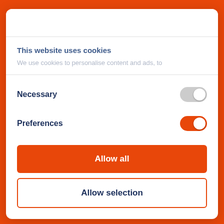This website uses cookies
We use cookies to personalise content and ads, to
Necessary
Preferences
Allow all
Allow selection
Powered by Cookiebot by Usercentrics